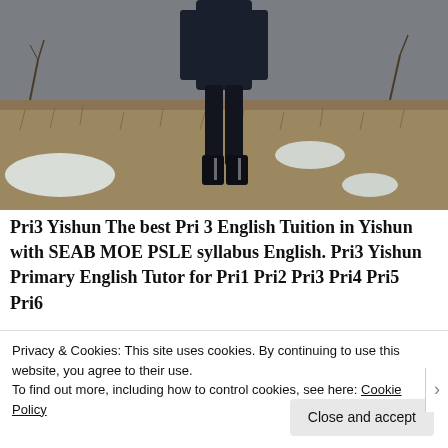[Figure (photo): A person in a dark winter jacket and boots standing in a snow-patched field with dry grass, facing the camera from a distance, showing mainly the lower body.]
Pri3 Yishun The best Pri 3 English Tuition in Yishun with SEAB MOE PSLE syllabus English. Pri3 Yishun Primary English Tutor for Pri1 Pri2 Pri3 Pri4 Pri5 Pri6
Privacy & Cookies: This site uses cookies. By continuing to use this website, you agree to their use.
To find out more, including how to control cookies, see here: Cookie Policy